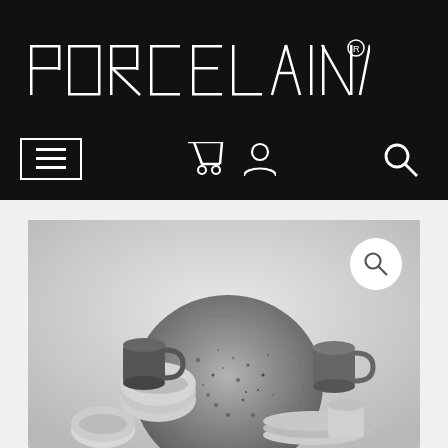[Figure (logo): PORCELAINA registered trademark logo in white geometric sans-serif font on black background]
[Figure (screenshot): Navigation bar with hamburger menu box, shopping cart icon, user/account icon, and search icon on black background]
[Figure (photo): Black and white photograph of porcelain dinnerware collection including plates, bowls, cups and mugs arranged together, with a search magnifier bubble overlay in top right]